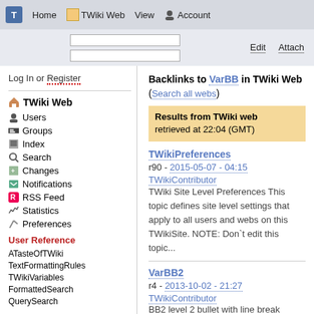Home  TWiki Web  View  Account
Log In or Register
TWiki Web
Users
Groups
Index
Search
Changes
Notifications
RSS Feed
Statistics
Preferences
User Reference
ATasteOfTWiki
TextFormattingRules
TWikiVariables
FormattedSearch
QuerySearch
Backlinks to VarBB in TWiki Web (Search all webs)
Results from TWiki web retrieved at 22:04 (GMT)
TWikiPreferences
r90 - 2015-05-07 - 04:15
TWikiContributor
TWiki Site Level Preferences This topic defines site level settings that apply to all users and webs on this TWikiSite. NOTE: Don`t edit this topic...
VarBB2
r4 - 2013-10-02 - 21:27
TWikiContributor
BB2 level 2 bullet with line break